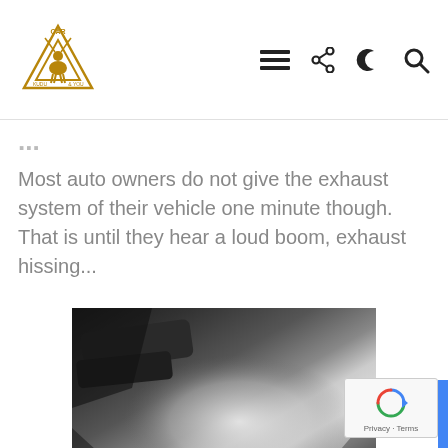Car Kudu & You — navigation header with logo and icons (menu, share, dark mode, search)
...
Most auto owners do not give the exhaust system of their vehicle one minute though. That is until they hear a loud boom, exhaust hissing...
[Figure (photo): Black and white close-up photo of a vehicle exhaust pipe/system component]